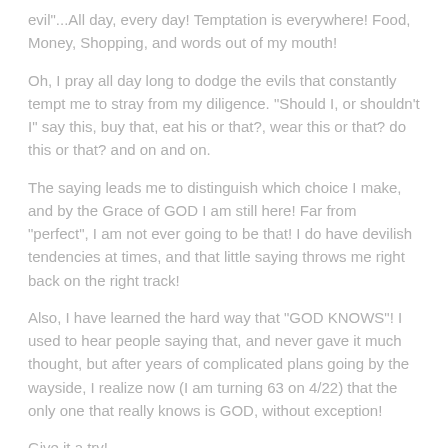evil"...All day, every day! Temptation is everywhere! Food, Money, Shopping, and words out of my mouth!
Oh, I pray all day long to dodge the evils that constantly tempt me to stray from my diligence. "Should I, or shouldn't I" say this, buy that, eat his or that?, wear this or that? do this or that? and on and on.
The saying leads me to distinguish which choice I make, and by the Grace of GOD I am still here! Far from "perfect", I am not ever going to be that! I do have devilish tendencies at times, and that little saying throws me right back on the right track!
Also, I have learned the hard way that "GOD KNOWS"! I used to hear people saying that, and never gave it much thought, but after years of complicated plans going by the wayside, I realize now (I am turning 63 on 4/22) that the only one that really knows is GOD, without exception!
Give it a try!